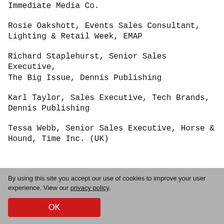Immediate Media Co.
Rosie Oakshott, Events Sales Consultant, Lighting & Retail Week, EMAP
Richard Staplehurst, Senior Sales Executive, The Big Issue, Dennis Publishing
Karl Taylor, Sales Executive, Tech Brands, Dennis Publishing
Tessa Webb, Senior Sales Executive, Horse & Hound, Time Inc. (UK)
By using this site you accept our use of cookies to improve your user experience. View our privacy policy.